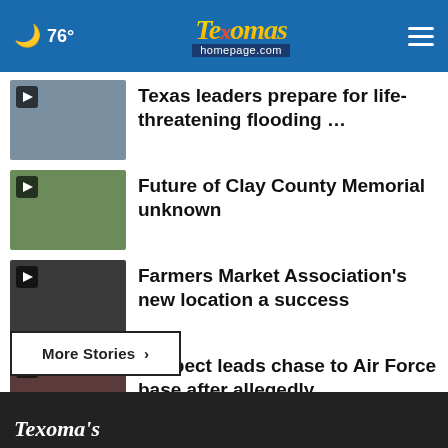🌙 76° — Texoma's homepage.com
Texas leaders prepare for life-threatening flooding …
Future of Clay County Memorial unknown
Farmers Market Association's new location a success
Suspect leads chase to Air Force base after allegedly …
More Stories ▶
Texoma's — Videos